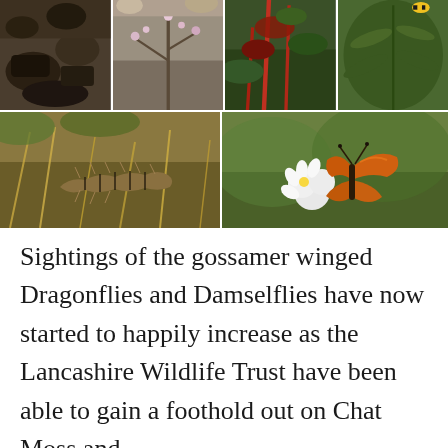[Figure (photo): Photo collage of wildlife and nature scenes: top row shows four images (rocky/soil ground, plant with small flowers, red plant stems with green foliage, dense green fern-like foliage with yellow and black striped insect); bottom row shows two larger images (caterpillar on dry grass and moss, orange skipper butterfly on white blackberry flowers)]
Sightings of the gossamer winged Dragonflies and Damselflies have now started to happily increase as the Lancashire Wildlife Trust have been able to gain a foothold out on Chat Moss and